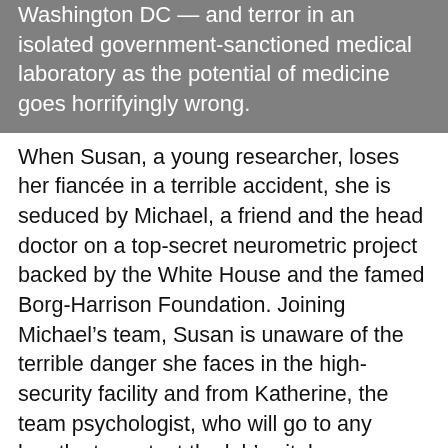Washington DC — and terror in an isolated government-sanctioned medical laboratory as the potential of medicine goes horrifyingly wrong.
When Susan, a young researcher, loses her fiancée in a terrible accident, she is seduced by Michael, a friend and the head doctor on a top-secret neurometric project backed by the White House and the famed Borg-Harrison Foundation. Joining Michael's team, Susan is unaware of the terrible danger she faces in the high-security facility and from Katherine, the team psychologist, who will go to any lengths to protect the lab's vital secrecy—and her own carnal desires. When Susan stumbles onto the true nature of the project, it's to find herself in it too deep to walk away and, trapped in the worst kind of nightmare, threatened every second to becoming a ghastly medical experiment herself.